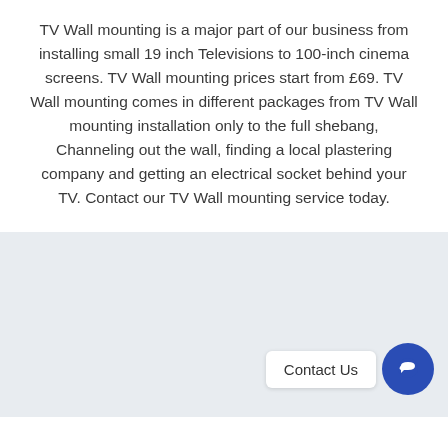TV Wall mounting is a major part of our business from installing small 19 inch Televisions to 100-inch cinema screens. TV Wall mounting prices start from £69. TV Wall mounting comes in different packages from TV Wall mounting installation only to the full shebang, Channeling out the wall, finding a local plastering company and getting an electrical socket behind your TV. Contact our TV Wall mounting service today.
[Figure (other): Light grey background section with a 'Contact Us' chat widget button in the bottom right corner, consisting of a white label and a blue circular chat icon.]